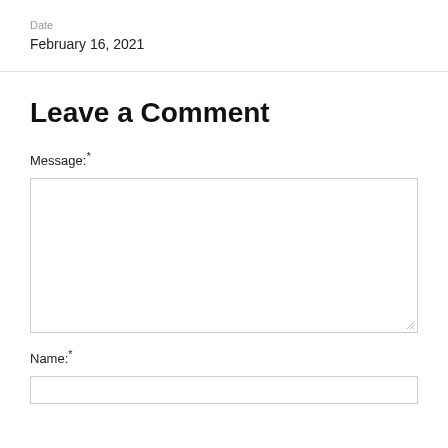Date
February 16, 2021
Leave a Comment
Message:*
Name:*